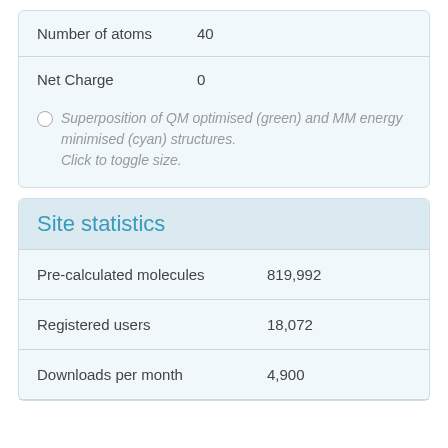| Property | Value |
| --- | --- |
| Number of atoms | 40 |
| Net Charge | 0 |
Superposition of QM optimised (green) and MM energy minimised (cyan) structures. Click to toggle size.
Site statistics
| Property | Value |
| --- | --- |
| Pre-calculated molecules | 819,992 |
| Registered users | 18,072 |
| Downloads per month | 4,900 |